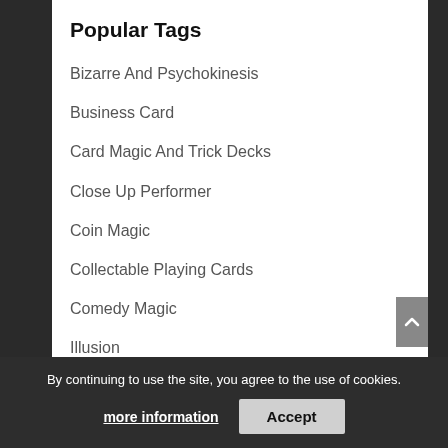Popular Tags
Bizarre And Psychokinesis
Business Card
Card Magic And Trick Decks
Close Up Performer
Coin Magic
Collectable Playing Cards
Comedy Magic
Illusion
Kids Show And Balloon Performer
L And L Publishing
Limited Edition
Mr. Magic
Parlor Magic
Parlor Performer
By continuing to use the site, you agree to the use of cookies.
more information
Accept